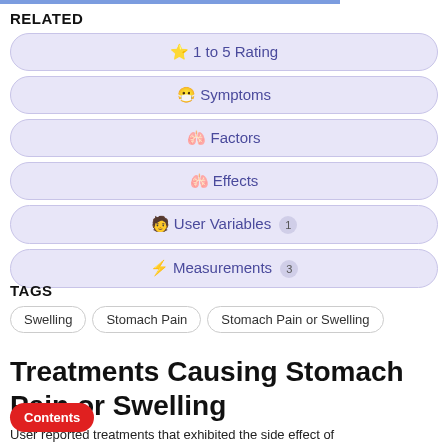RELATED
⭐ 1 to 5 Rating
😷 Symptoms
🫁 Factors
🫁 Effects
🧑 User Variables 1
🔢 Measurements 3
TAGS
Swelling
Stomach Pain
Stomach Pain or Swelling
Treatments Causing Stomach Pain or Swelling
User reported treatments that exhibited the side effect of